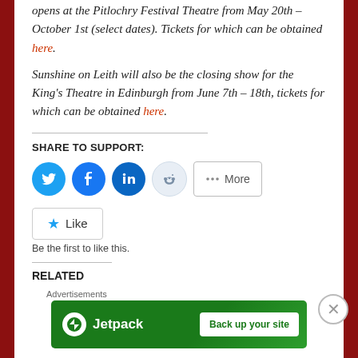opens at the Pitlochry Festival Theatre from May 20th – October 1st (select dates). Tickets for which can be obtained here.
Sunshine on Leith will also be the closing show for the King's Theatre in Edinburgh from June 7th – 18th, tickets for which can be obtained here.
SHARE TO SUPPORT:
[Figure (infographic): Social share buttons: Twitter (blue circle), Facebook (blue circle), LinkedIn (dark blue circle), Reddit (light blue circle), and a More button]
[Figure (infographic): Like button with star icon and text 'Like']
Be the first to like this.
RELATED
[Figure (infographic): Jetpack advertisement banner: green background, Jetpack logo, 'Back up your site' button]
Advertisements